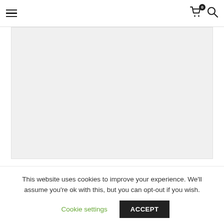≡  🛒 0  🔍
[Figure (photo): Large light gray image placeholder area]
We talked to Daniel Cross, one of the directors of TAPE Music, a
This website uses cookies to improve your experience. We'll assume you're ok with this, but you can opt-out if you wish.
Cookie settings  ACCEPT